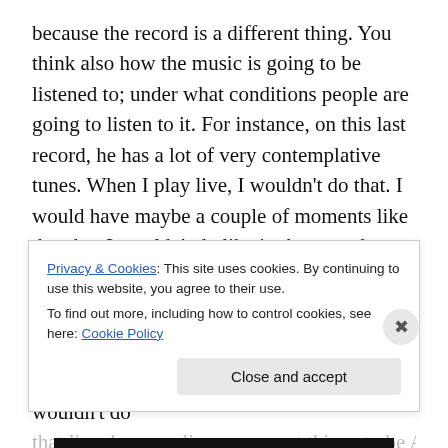because the record is a different thing. You think also how the music is going to be listened to; under what conditions people are going to listen to it. For instance, on this last record, he has a lot of very contemplative tunes. When I play live, I wouldn't do that. I would have maybe a couple of moments like that, but I wouldn't do like in the record, one after the other.
TP: Like those three towards the end.
ER: Yes. But I think in the record, it works. I wouldn't do
Privacy & Cookies: This site uses cookies. By continuing to use this website, you agree to their use.
To find out more, including how to control cookies, see here: Cookie Policy